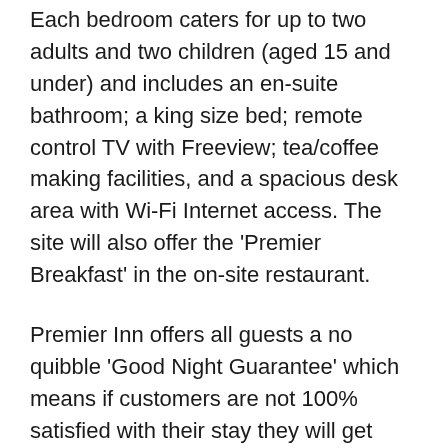Each bedroom caters for up to two adults and two children (aged 15 and under) and includes an en-suite bathroom; a king size bed; remote control TV with Freeview; tea/coffee making facilities, and a spacious desk area with Wi-Fi Internet access. The site will also offer the 'Premier Breakfast' in the on-site restaurant.
Premier Inn offers all guests a no quibble 'Good Night Guarantee' which means if customers are not 100% satisfied with their stay they will get their money back.
With over 600 hotels nationwide, Premier Inn is at more locations than any other hotel chain in the UK. More information can be found